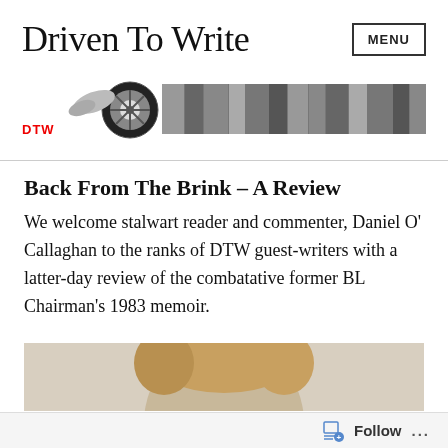Driven To Write
[Figure (logo): DTW logo with wheel graphic and black-and-white photo strip banner]
Back From The Brink – A Review
We welcome stalwart reader and commenter, Daniel O' Callaghan to the ranks of DTW guest-writers with a latter-day review of the combatative former BL Chairman's 1983 memoir.
[Figure (photo): Partial photo of a person's head with blonde hair, cropped at bottom of page]
Follow ...